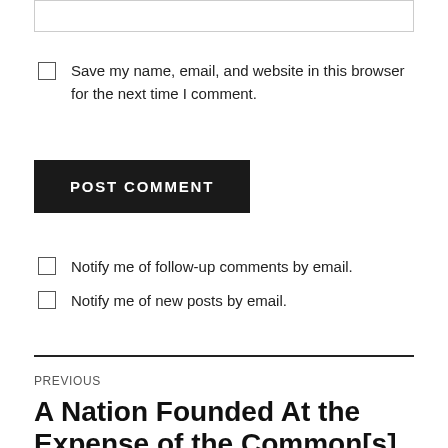[text input box]
Save my name, email, and website in this browser for the next time I comment.
POST COMMENT
Notify me of follow-up comments by email.
Notify me of new posts by email.
PREVIOUS
A Nation Founded At the Expense of the Common[s]